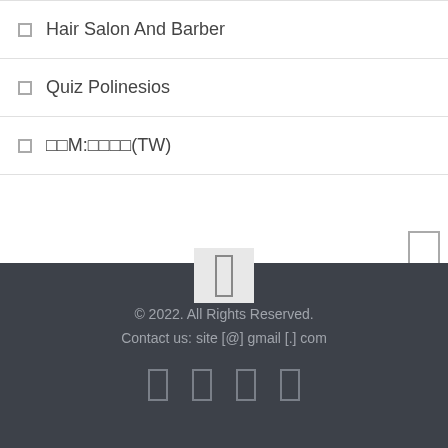Hair Salon And Barber
Quiz Polinesios
⬜⬜M:⬜⬜⬜⬜(TW)
© 2022. All Rights Reserved.
Contact us: site [@] gmail [.] com